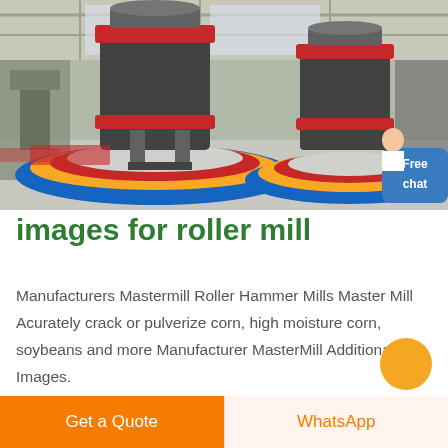[Figure (photo): Industrial roller mill machines in a large factory warehouse. Two large grey and red cone/cylinder-shaped crusher/mill units sit on circular blue, yellow, and red bases filled with small grey pellets. The facility has a high ceiling with natural light. A small customer service representative figure is overlaid at the bottom right, with a 'Free chat' blue badge.]
images for roller mill
Manufacturers Mastermill Roller Hammer Mills Master Mill Acurately crack or pulverize corn, high moisture corn, soybeans and more Manufacturer MasterMill Additional Images.